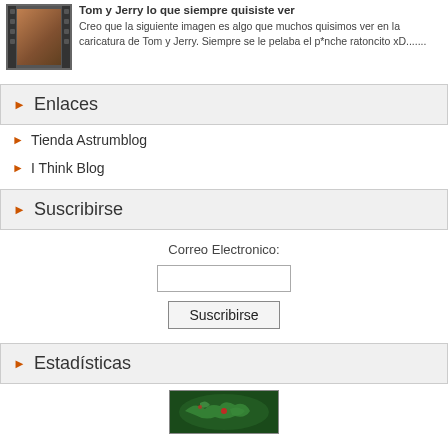[Figure (photo): Tom and Jerry cartoon thumbnail with film strip border]
Tom y Jerry lo que siempre quisiste ver
Creo que la siguiente imagen es algo que muchos quisimos ver en la caricatura de Tom y Jerry. Siempre se le pelaba el p*nche ratoncito xD.......
Enlaces
Tienda Astrumblog
I Think Blog
Suscribirse
Correo Electronico:
Estadísticas
[Figure (photo): World map image shown at bottom]